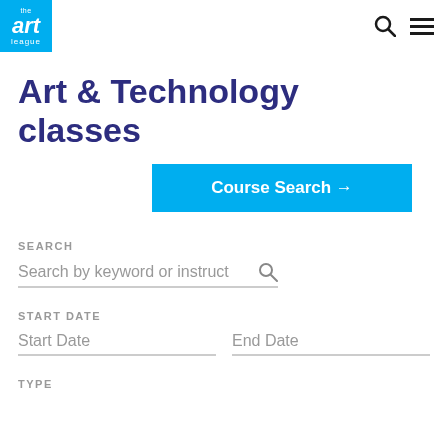the art league
Art & Technology classes
Course Search →
SEARCH
Search by keyword or instruct
START DATE
Start Date
End Date
TYPE